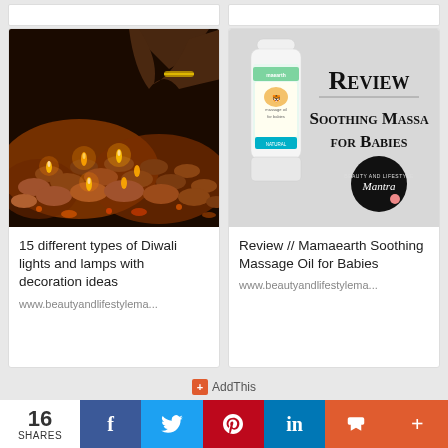[Figure (photo): Top partial view of two white article cards on gray background]
[Figure (photo): Photo of Diwali clay lamps (diyas) lit with flames, with a hand wearing a gold bracelet pouring oil]
15 different types of Diwali lights and lamps with decoration ideas
www.beautyandlifestylema...
[Figure (photo): Review image showing Mamaearth Soothing Massage Oil bottle with text 'Review // Soothing Massage for Babies' and Beauty and Lifestyle Mantra logo]
Review // Mamaearth Soothing Massage Oil for Babies
www.beautyandlifestylema...
AddThis
16
SHARES